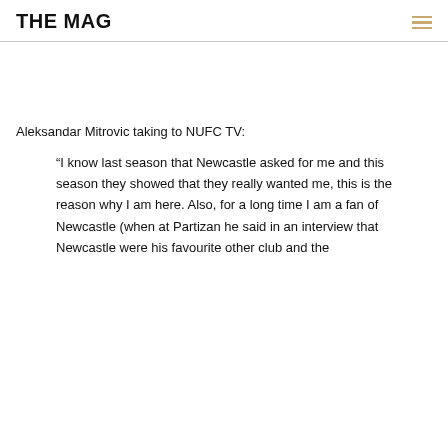THE MAG
Aleksandar Mitrovic taking to NUFC TV:
“I know last season that Newcastle asked for me and this season they showed that they really wanted me, this is the reason why I am here. Also, for a long time I am a fan of Newcastle (when at Partizan he said in an interview that Newcastle were his favourite other club and the